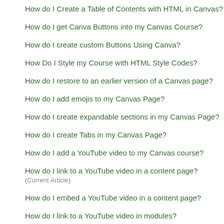How do I Create a Table of Contents with HTML in Canvas?
How do I get Canva Buttons into my Canvas Course?
How do I create custom Buttons Using Canva?
How Do I Style my Course with HTML Style Codes?
How do I restore to an earlier version of a Canvas page?
How do I add emojis to my Canvas Page?
How do I create expandable sections in my Canvas Page?
How do I create Tabs in my Canvas Page?
How do I add a YouTube video to my Canvas course?
How do I link to a YouTube video in a content page? (Current Article)
How do I embed a YouTube video in a content page?
How do I link to a YouTube video in modules?